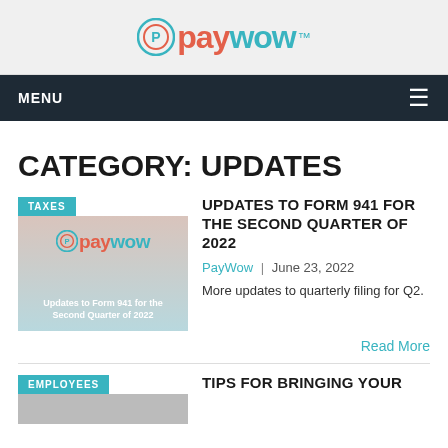PayWow™
MENU
CATEGORY: UPDATES
[Figure (logo): PayWow logo with TAXES tag and article thumbnail showing 'Updates to Form 941 for the Second Quarter of 2022']
UPDATES TO FORM 941 FOR THE SECOND QUARTER OF 2022
PayWow  |  June 23, 2022
More updates to quarterly filing for Q2.
Read More
[Figure (illustration): EMPLOYEES tag with partial article thumbnail]
TIPS FOR BRINGING YOUR